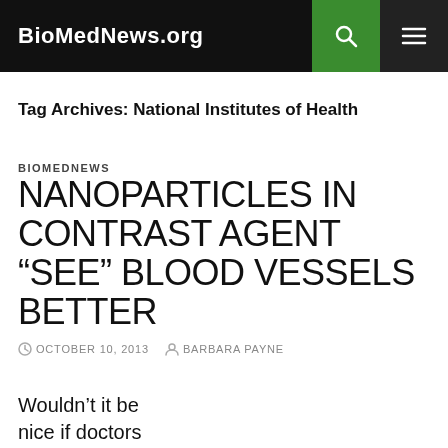BioMedNews.org
Tag Archives: National Institutes of Health
BIOMEDNEWS
NANOPARTICLES IN CONTRAST AGENT “SEE” BLOOD VESSELS BETTER
OCTOBER 10, 2013   BARBARA PAYNE
Wouldn’t it be nice if doctors